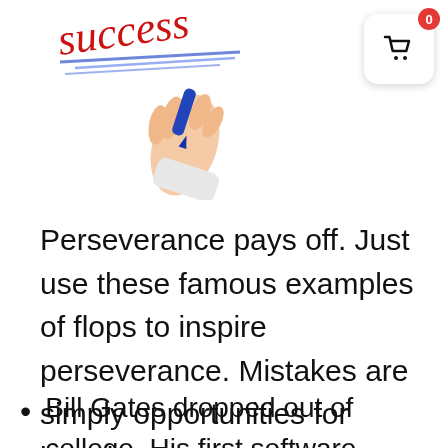[Figure (photo): Hand writing the word 'success' in red cursive with a blue marker, white background]
[Figure (other): Shopping cart widget with badge showing 0]
Perseverance pays off. Just use these famous examples of flops to inspire perseverance. Mistakes are simply opportunities for learning.
Bill Gates dropped out of college. His first software company (Traf-O-Data) failed. He went on to create Microsoft